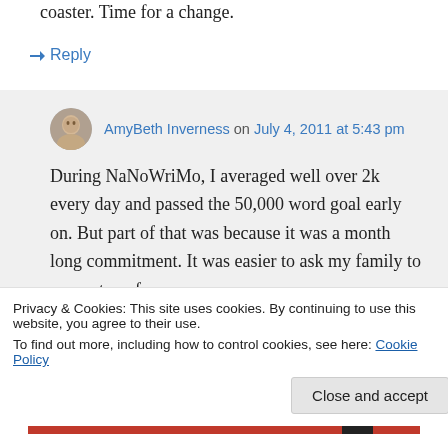coaster. Time for a change.
↳ Reply
AmyBeth Inverness on July 4, 2011 at 5:43 pm
During NaNoWriMo, I averaged well over 2k every day and passed the 50,000 word goal early on. But part of that was because it was a month long commitment. It was easier to ask my family to support me for
Privacy & Cookies: This site uses cookies. By continuing to use this website, you agree to their use.
To find out more, including how to control cookies, see here: Cookie Policy
Close and accept